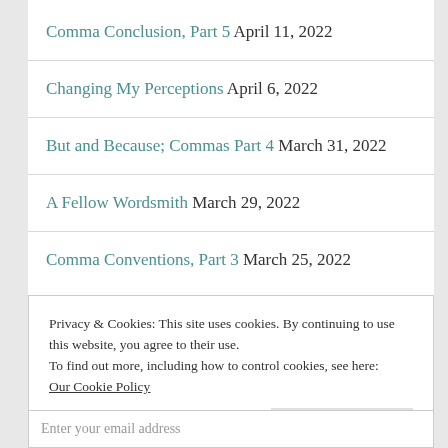Comma Conclusion, Part 5 April 11, 2022
Changing My Perceptions April 6, 2022
But and Because; Commas Part 4 March 31, 2022
A Fellow Wordsmith March 29, 2022
Comma Conventions, Part 3 March 25, 2022
Privacy & Cookies: This site uses cookies. By continuing to use this website, you agree to their use.
To find out more, including how to control cookies, see here:
Our Cookie Policy
Close and accept
Enter your email address